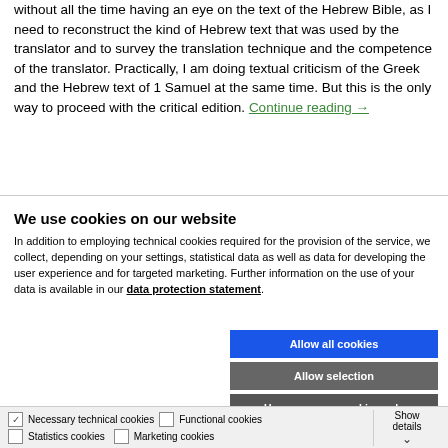without all the time having an eye on the text of the Hebrew Bible, as I need to reconstruct the kind of Hebrew text that was used by the translator and to survey the translation technique and the competence of the translator. Practically, I am doing textual criticism of the Greek and the Hebrew text of 1 Samuel at the same time. But this is the only way to proceed with the critical edition. Continue reading →
We use cookies on our website
In addition to employing technical cookies required for the provision of the service, we collect, depending on your settings, statistical data as well as data for developing the user experience and for targeted marketing. Further information on the use of your data is available in our data protection statement.
Allow all cookies
Allow selection
Use necessary cookies only
Necessary technical cookies  Functional cookies  Statistics cookies  Marketing cookies  Show details